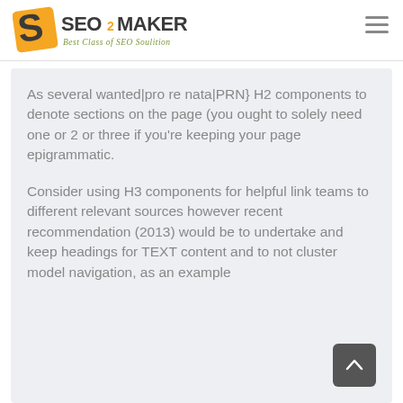[Figure (logo): SEO2MAKER logo with orange and dark swoosh icon and text 'SEO2MAKER Best Class of SEO Soulition']
As several wanted|pro re nata|PRN} H2 components to denote sections on the page (you ought to solely need one or 2 or three if you’re keeping your page epigrammatic.
Consider using H3 components for helpful link teams to different relevant sources however recent recommendation (2013) would be to undertake and keep headings for TEXT content and to not cluster model navigation, as an example